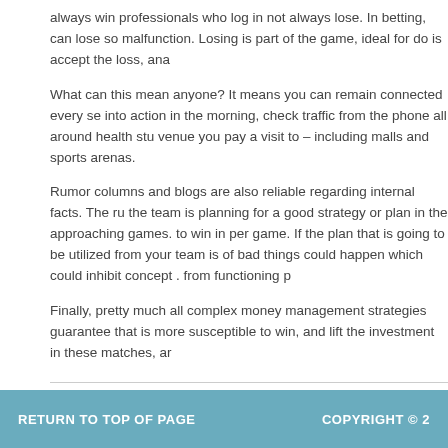always win professionals who log in not always lose. In betting, can lose so malfunction. Losing is part of the game, ideal for do is accept the loss, ana
What can this mean anyone? It means you can remain connected every se into action in the morning, check traffic from the phone all around health stu venue you pay a visit to – including malls and sports arenas.
Rumor columns and blogs are also reliable regarding internal facts. The ru the team is planning for a good strategy or plan in the approaching games. to win in per game. If the plan that is going to be utilized from your team is of bad things could happen which could inhibit concept . from functioning p
Finally, pretty much all complex money management strategies guarantee that is more susceptible to win, and lift the investment in these matches, ar
FILED UNDER: UNCATEGORIZED ·
RETURN TO TOP OF PAGE   COPYRIGHT © 2